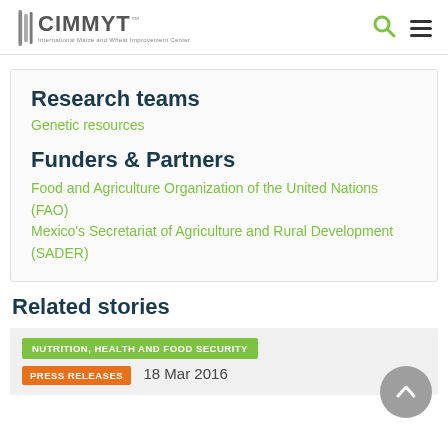CIMMYT — International Maize and Wheat Improvement Center
Research teams
Genetic resources
Funders & Partners
Food and Agriculture Organization of the United Nations (FAO)
Mexico's Secretariat of Agriculture and Rural Development (SADER)
Related stories
NUTRITION, HEALTH AND FOOD SECURITY
PRESS RELEASES  18 Mar 2016